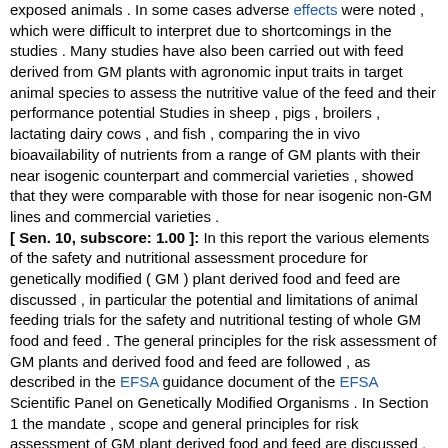exposed animals . In some cases adverse effects were noted , which were difficult to interpret due to shortcomings in the studies . Many studies have also been carried out with feed derived from GM plants with agronomic input traits in target animal species to assess the nutritive value of the feed and their performance potential Studies in sheep , pigs , broilers , lactating dairy cows , and fish , comparing the in vivo bioavailability of nutrients from a range of GM plants with their near isogenic counterpart and commercial varieties , showed that they were comparable with those for near isogenic non-GM lines and commercial varieties . [ Sen. 10, subscore: 1.00 ]: In this report the various elements of the safety and nutritional assessment procedure for genetically modified ( GM ) plant derived food and feed are discussed , in particular the potential and limitations of animal feeding trials for the safety and nutritional testing of whole GM food and feed . The general principles for the risk assessment of GM plants and derived food and feed are followed , as described in the EFSA guidance document of the EFSA Scientific Panel on Genetically Modified Organisms . In Section 1 the mandate , scope and general principles for risk assessment of GM plant derived food and feed are discussed . Products under consideration are food and feed derived from GM plants , such as maize , soybeans , oilseed rape and cotton , modified through the introduction of one or more genes coding for agronomic input traits like herbicide tolerance and/or insect resistance . Furthermore GM plant derived food and feed , which have been obtained through extensive genetic modifications targeted at specific alterations of metabolic pathways leading to improved nutritional and/or health characteristics , such as rice containing beta-carotene , soybeans with enhanced oleic acid content , or tomato with increased concentration of flavonoids , are considered . The safety assessment of GM plants and derived food and feed follows a